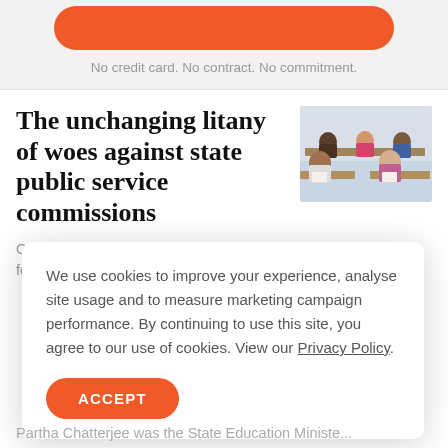[Figure (other): Orange rounded rectangle button (subscribe/start trial)]
No credit card. No contract. No commitment.
The unchanging litany of woes against state public service commissions
[Figure (photo): Students sitting at desks in a classroom, writing, seen from the front. Rows of young people in a school exam setting.]
On May 4, Amit Abhishek was unsure of securing a train ticket for his journey from Delhi to an examination...
We use cookies to improve your experience, analyse site usage and to measure marketing campaign performance. By continuing to use this site, you agree to our use of cookies. View our Privacy Policy.
ACCEPT
Partha Chatterjee was the State Education Ministe...